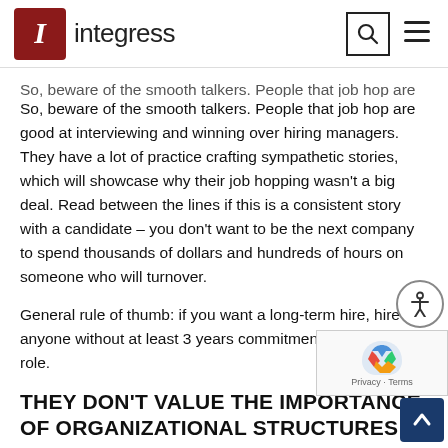integress
So, beware of the smooth talkers. People that job hop are good at interviewing and winning over hiring managers. They have a lot of practice crafting sympathetic stories, which will showcase why their job hopping wasn't a big deal. Read between the lines if this is a consistent story with a candidate – you don't want to be the next company to spend thousands of dollars and hundreds of hours on someone who will turnover.
General rule of thumb: if you want a long-term hire, hire anyone without at least 3 years commitment to previous role.
THEY DON'T VALUE THE IMPORTANCE OF ORGANIZATIONAL STRUCTURES